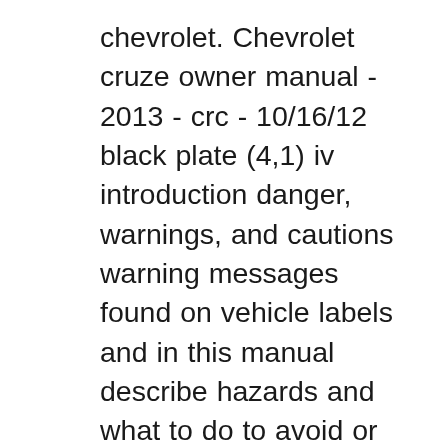chevrolet. Chevrolet cruze owner manual - 2013 - crc - 10/16/12 black plate (4,1) iv introduction danger, warnings, and cautions warning messages found on vehicle labels and in this manual describe hazards and what to do to avoid or reduce them. danger indicates a hazard with a high level of risk which will result in serious injury or death. warning or. To, gm, the gm logo, chevrolet, the chevrolet emblem, and cruze are trademarks and/or service marks of general motors llc, its subsidiaries, affiliates, or licensors. for vehicles first sold in canada, substitute the name вђњgeneral motors of canada companyвђќ for chevrolet motor division where it appears in this manual